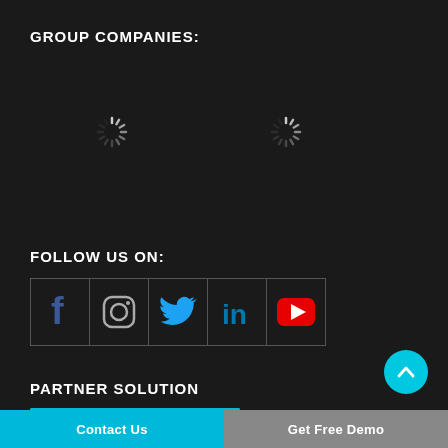GROUP COMPANIES:
[Figure (illustration): Two loading spinner icons (gray radial spokes) representing loading images for group company logos]
FOLLOW US ON:
[Figure (illustration): Row of 5 social media icons: Facebook (blue), Instagram (gray circle), Twitter (blue bird), LinkedIn (blue 'in'), YouTube (red play button) — each in a bordered cell]
PARTNER SOLUTION
[Figure (illustration): Cyan/teal loading bar area for partner solution logo]
[Figure (illustration): Cyan circular scroll-to-top button with upward chevron arrow]
Contact Us   Get Free Demo